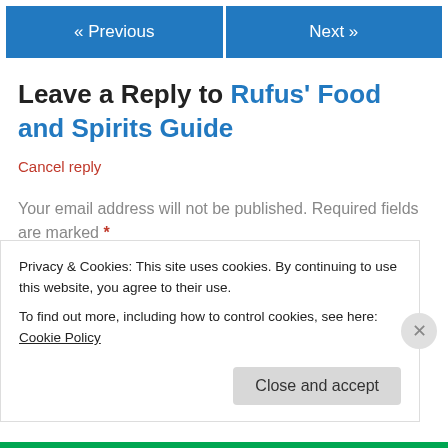« Previous   Next »
Leave a Reply to Rufus' Food and Spirits Guide
Cancel reply
Your email address will not be published. Required fields are marked *
Comment *
Privacy & Cookies: This site uses cookies. By continuing to use this website, you agree to their use.
To find out more, including how to control cookies, see here: Cookie Policy
Close and accept